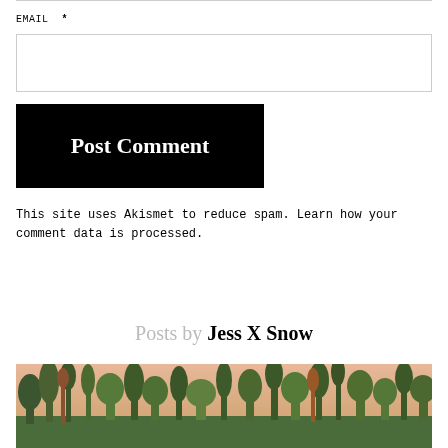EMAIL *
Post Comment
This site uses Akismet to reduce spam. Learn how your comment data is processed.
Posts by Jess X Snow
[Figure (photo): A landscape photo showing a treeline with green and brown trees against a warm pinkish-orange sky at dusk or dawn.]